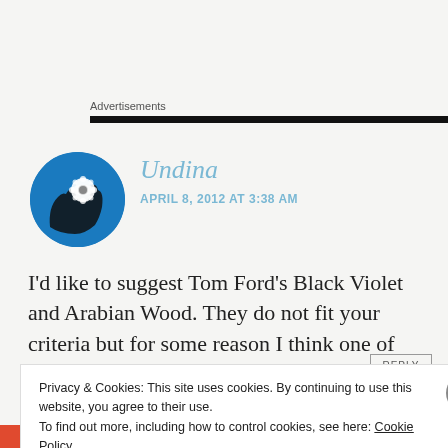Advertisements
[Figure (photo): Circular avatar photo of Undina — a hand silhouette with a white flower/jellyfish-like object against a blue background]
Undina
APRIL 8, 2012 AT 3:38 AM
I'd like to suggest Tom Ford's Black Violet and Arabian Wood. They do not fit your criteria but for some reason I think one of them might work.
Privacy & Cookies: This site uses cookies. By continuing to use this website, you agree to their use.
To find out more, including how to control cookies, see here: Cookie Policy
Close and accept